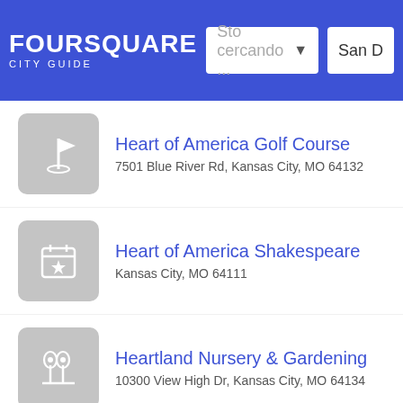FOURSQUARE CITY GUIDE — Sto cercando ... — San D
Heart of America Golf Course
7501 Blue River Rd, Kansas City, MO 64132
Heart of America Shakespeare
Kansas City, MO 64111
Heartland Nursery & Gardening
10300 View High Dr, Kansas City, MO 64134
Heirloom Bakery & Hearth
401 E 63rd St (at Oak St), Kansas City, MO 64110
Helen's JAD
2002 Armour Rd, Kansas City, MO 64116
Helzberg Diamonds
400 Nichols Rd (Nichols & Broadway), Kansas City